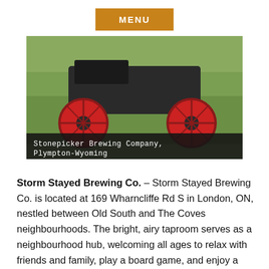MENU
[Figure (photo): Outdoor photo showing an old red-wheeled tractor or farm implement on grass, partially visible. Caption bar reads: Stonepicker Brewing Company, Plympton-Wyoming]
Stonepicker Brewing Company, Plympton-Wyoming
Storm Stayed Brewing Co. – Storm Stayed Brewing Co. is located at 169 Wharncliffe Rd S in London, ON, nestled between Old South and The Coves neighbourhoods. The bright, airy taproom serves as a neighbourhood hub, welcoming all ages to relax with friends and family, play a board game, and enjoy a wide selection of beers crafted on site. Family-style tables encourage interaction, and all public spaces have been designed with accessibility in mind. A menu of locally-sourced, house-made foods, including charcuterie